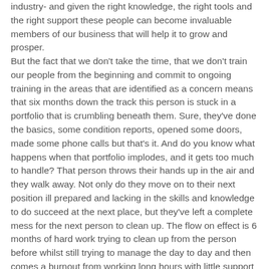industry- and given the right knowledge, the right tools and the right support these people can become invaluable members of our business that will help it to grow and prosper. But the fact that we don't take the time, that we don't train our people from the beginning and commit to ongoing training in the areas that are identified as a concern means that six months down the track this person is stuck in a portfolio that is crumbling beneath them. Sure, they've done the basics, some condition reports, opened some doors, made some phone calls but that's it. And do you know what happens when that portfolio implodes, and it gets too much to handle? That person throws their hands up in the air and they walk away. Not only do they move on to their next position ill prepared and lacking in the skills and knowledge to do succeed at the next place, but they've left a complete mess for the next person to clean up. The flow on effect is 6 months of hard work trying to clean up from the person before whilst still trying to manage the day to day and then comes a burnout from working long hours with little support and that person soon moves on too.
Added to that is a lack of support. I have a wonderful friend who has been a PM for over 20 years. She is simply amazing. She's so frustrated in her current role because there is simply no support. The department head doesn't seem to give two hoots about anyone or anything providing they don't loose properties as it will affect their